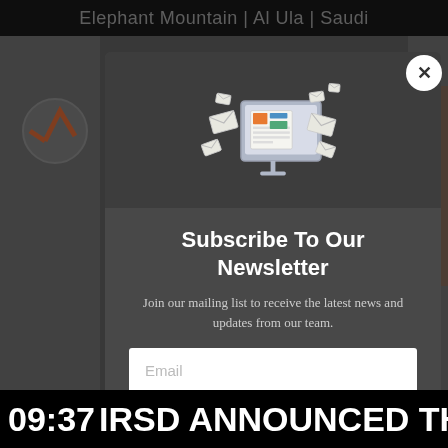Elephant Mountain | Al Ula | Saudi
[Figure (screenshot): Newsletter subscription modal popup over a website background showing an email/newsletter icon (computer monitor with envelopes), subscribe form with email input and orange submit button]
Subscribe To Our Newsletter
Join our mailing list to receive the latest news and updates from our team.
09:37 IRSD ANNOUNCED THE RA